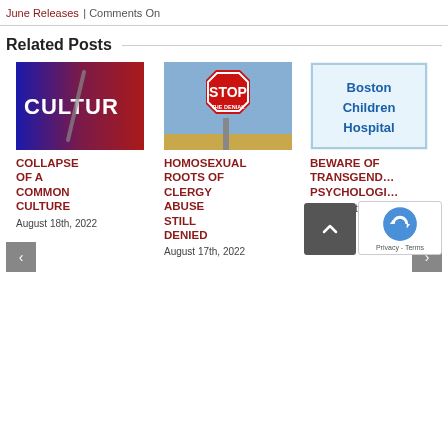June Releases | Comments On
Related Posts
[Figure (photo): Culture image with blue-red gradient background and text CULTURE with a diagonal element]
COLLAPSE OF A COMMON CULTURE
August 18th, 2022
[Figure (photo): Red octagonal STOP sign with text THE DENIAL on post against sky background]
HOMOSEXUAL ROOTS OF CLERGY ABUSE STILL DENIED
August 17th, 2022
[Figure (logo): Boston Children Hospital logo with blue and pink text on white background with border]
BEWARE OF TRANSGENDER PSYCHOLOGY
August 16th, 2022